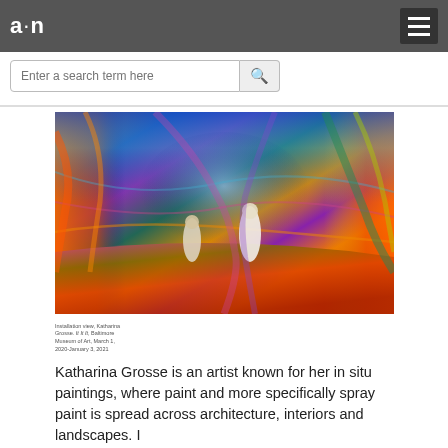a·n
[Figure (photo): Installation view of Katharina Grosse's colorful in situ painting with draped painted fabric filling a large room, two figures standing among the colored fabric]
Installation view, Katharina Grosse. It It It, Baltimore Museum of Art, March 1, 2020-January 3, 2021
Katharina Grosse is an artist known for her in situ paintings, where paint and more specifically spray paint is spread across architecture, interiors and landscapes. I